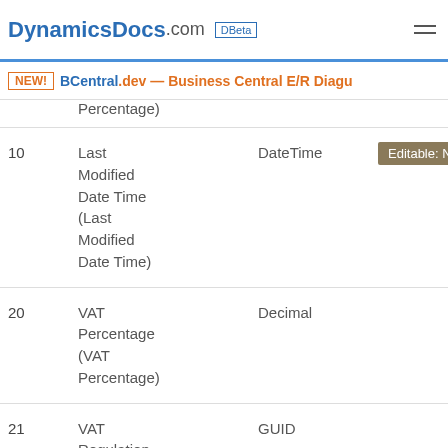DynamicsDocs.com DBeta
NEW! BCentral.dev — Business Central E/R Diagu
| No. | Name | Type | Properties |
| --- | --- | --- | --- |
|  | Percentage) |  |  |
| 10 | Last Modified Date Time (Last Modified Date Time) | DateTime | Editable: No |
| 20 | VAT Percentage (VAT Percentage) | Decimal |  |
| 21 | VAT Regulation Reference | GUID |  |